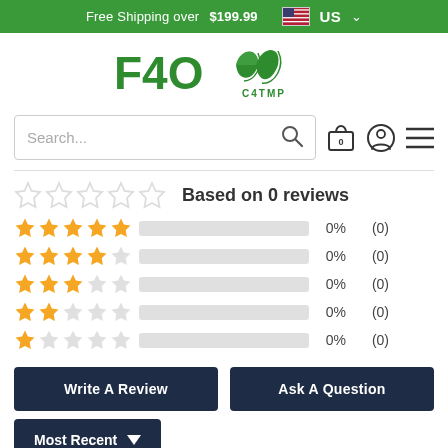Free Shipping over $199.99   US
[Figure (logo): F40 C4TMP green leaf logo]
Search...
Based on 0 reviews
5 stars: 0% (0)
4 stars: 0% (0)
3 stars: 0% (0)
2 stars: 0% (0)
1 star: 0% (0)
Write A Review
Ask A Question
Most Recent